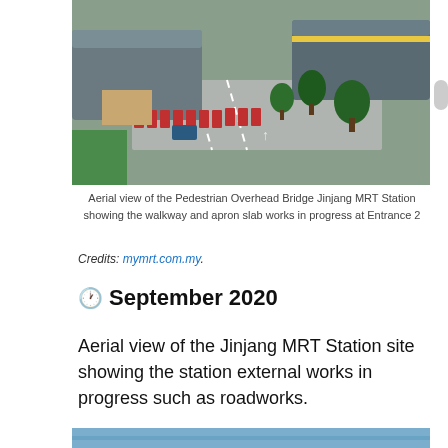[Figure (photo): Aerial view of a MRT station construction site showing overhead bridge, road with red barriers, trees, and surrounding infrastructure under construction.]
Aerial view of the Pedestrian Overhead Bridge Jinjang MRT Station showing the walkway and apron slab works in progress at Entrance 2
Credits: mymrt.com.my.
🕐 September 2020
Aerial view of the Jinjang MRT Station site showing the station external works in progress such as roadworks.
[Figure (photo): Partial aerial view of Jinjang MRT Station site (cropped at bottom of page).]